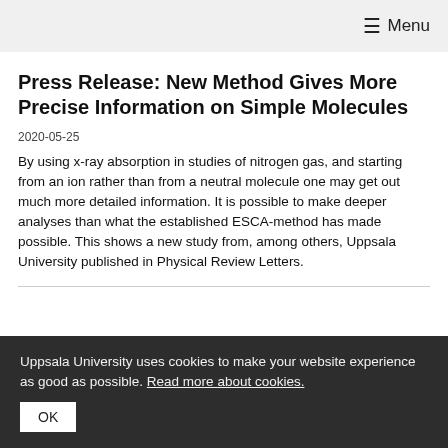☰ Menu
Press Release: New Method Gives More Precise Information on Simple Molecules
2020-05-25
By using x-ray absorption in studies of nitrogen gas, and starting from an ion rather than from a neutral molecule one may get out much more detailed information. It is possible to make deeper analyses than what the established ESCA-method has made possible. This shows a new study from, among others, Uppsala University published in Physical Review Letters.
Uppsala University uses cookies to make your website experience as good as possible. Read more about cookies.